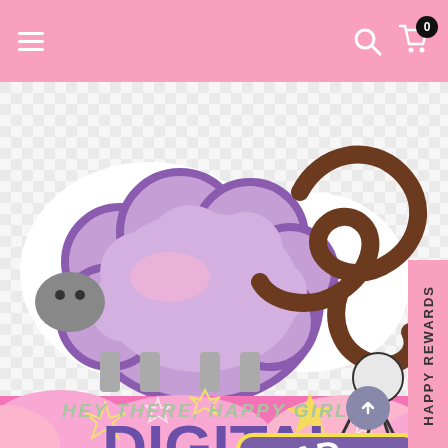Navigation bar with hamburger menu, search icon, shopping cart with badge 0
[Figure (illustration): Sheep/animal illustration with purple cloud-shaped body and brown curly tail/script on a gingham checkered background]
HAPPY REWARDS (vertical side tab)
HEY THERE, HAPPY GIRL!
DIGITAL STORE
[Figure (illustration): Yellow-outlined sticker with text 'HEAD HAPPINESS!' overlapping the DIGITAL STORE title, plus decorative star shapes and pink cloud shapes at bottom]